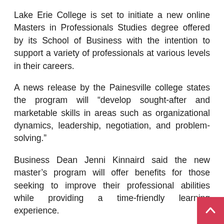Lake Erie College is set to initiate a new online Masters in Professionals Studies degree offered by its School of Business with the intention to support a variety of professionals at various levels in their careers.
A news release by the Painesville college states the program will “develop sought-after and marketable skills in areas such as organizational dynamics, leadership, negotiation, and problem-solving.”
Business Dean Jenni Kinnaird said the new master’s program will offer benefits for those seeking to improve their professional abilities while providing a time-friendly learning experience.
“The degree provides both the opportunity to develop specific skills that employers are looking for and the flexibility for students to tailor and complete a degree that meets their specific needs and interests,” Kinnaird said